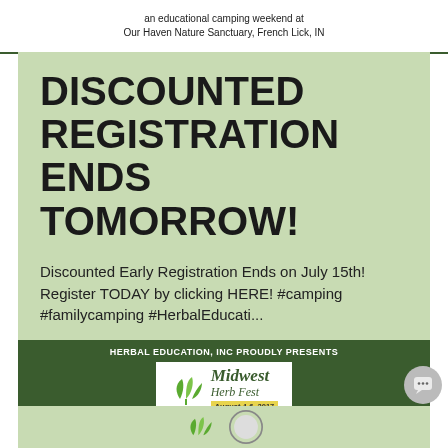an educational camping weekend at
Our Haven Nature Sanctuary, French Lick, IN
DISCOUNTED REGISTRATION ENDS TOMORROW!
Discounted Early Registration Ends on July 15th! Register TODAY by clicking HERE! #camping #familycamping #HerbalEducati...
[Figure (logo): Midwest Herb Fest logo with green leaf icon and text 'Midwest Herb Fest August 4-6, 2017' on a white box inside a dark green banner labeled 'HERBAL EDUCATION, INC PROUDLY PRESENTS']
[Figure (logo): Partial view of another logo at the bottom of the page, partially cut off]